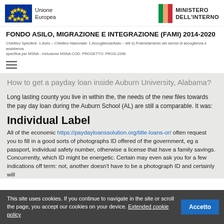Unione Europea | MINISTERO DELL'INTERNO
FONDO ASILO, MIGRAZIONE E INTEGRAZIONE (FAMI) 2014-2020
Chiettivo Specifice: 1.Asilo - Chiettivo Nazionale: 1.Accoglienza/Asilo - lett e) Potenziamento dei servizi di accoglienza e assistenza specifica per MSNA - Inclusione MSNA COD. PROGETTO: PROG-2206
How to get a payday loan inside Auburn University, Alabama?
Long lasting county you live in within the, the needs of the new files towards the pay day loan during the Auburn School (AL) are still a comparable. It was:
Individual Label
All of the economic https://paydayloanssolution.org/title-loans-or/ often request you to fill in a good sorts of photographs ID offered of the government, eg a passport, individual safety number, otherwise a license that have a family savings. Concurrently, which ID might be energetic. Certain may even ask you for a few indications off term: not, another doesn't have to be a photograph ID and certainly will
This site uses cookies. If you continue to navigate in the site or scroll the page, you accept our cookies on your device. Extended cookie policy